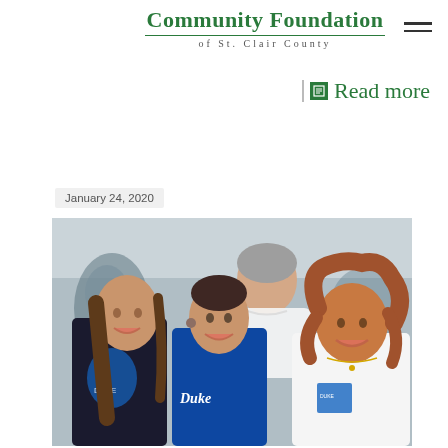Community Foundation of St. Clair County
Read more
January 24, 2020
[Figure (photo): Group photo of four people smiling under a tent/canopy: two young women on the left, a middle-aged man standing behind in the center-back, and an older woman on the right. The women on the left and center are wearing Duke-branded clothing.]